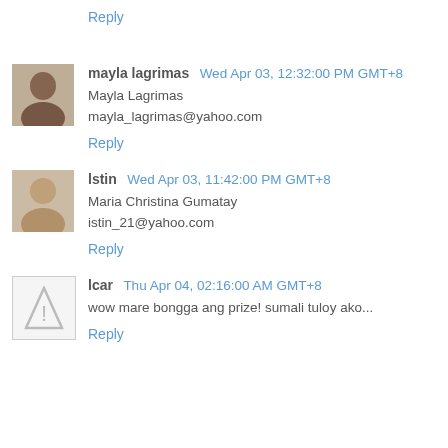Reply
mayla lagrimas   Wed Apr 03, 12:32:00 PM GMT+8
Mayla Lagrimas
mayla_lagrimas@yahoo.com
Reply
lslin   Wed Apr 03, 11:42:00 PM GMT+8
Maria Christina Gumatay
istin_21@yahoo.com
Reply
lcar   Thu Apr 04, 02:16:00 AM GMT+8
wow mare bongga ang prize! sumali tuloy ako...
Reply